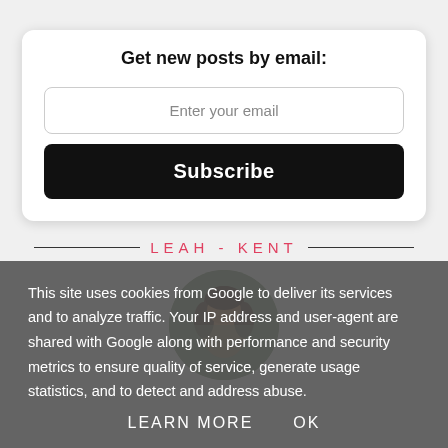Get new posts by email:
Enter your email
Subscribe
LEAH - KENT
[Figure (photo): Circular profile photo of a person lying on grass, viewed from above, with dark hair.]
This site uses cookies from Google to deliver its services and to analyze traffic. Your IP address and user-agent are shared with Google along with performance and security metrics to ensure quality of service, generate usage statistics, and to detect and address abuse.
LEARN MORE   OK